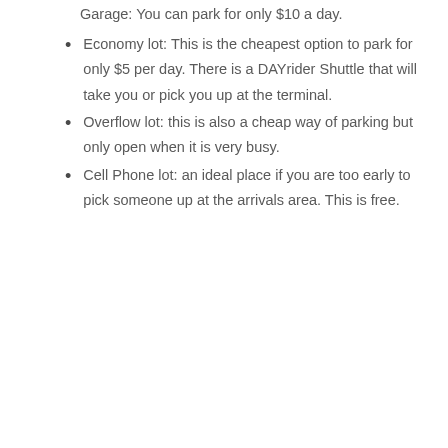Garage: You can park for only $10 a day.
Economy lot: This is the cheapest option to park for only $5 per day. There is a DAYrider Shuttle that will take you or pick you up at the terminal.
Overflow lot: this is also a cheap way of parking but only open when it is very busy.
Cell Phone lot: an ideal place if you are too early to pick someone up at the arrivals area. This is free.